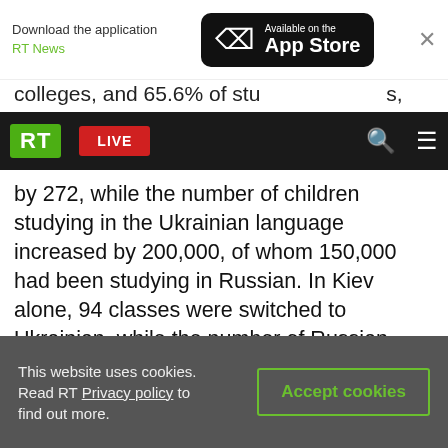[Figure (screenshot): App download banner with RT News logo and Available on the App Store button]
colleges, and 65.6% of students...
[Figure (screenshot): RT News navigation bar with LIVE button, search and menu icons]
by 272, while the number of children studying in the Ukrainian language increased by 200,000, of whom 150,000 had been studying in Russian. In Kiev alone, 94 classes were switched to Ukrainian, while the number of Russian classes decreased from 11,563 to 5,421 across the country. Around 78% of theater performances are staged in Ukrainian. Nonetheless, the Odessa Regional Academic Theater, the Kharkov Pushkin Drama Theater, the Odessa Musical Comedy Theater, the 'Academy of Movement' Academic Theater in
This website uses cookies. Read RT Privacy policy to find out more.